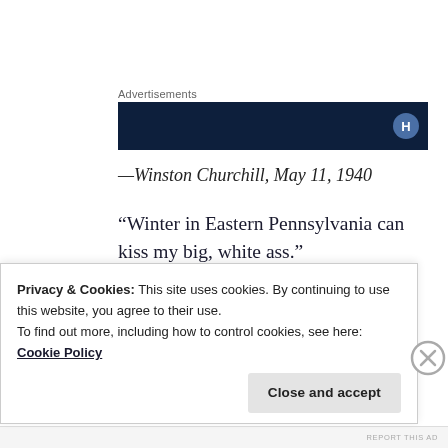Advertisements
[Figure (other): Dark navy advertisement banner with a circular icon on the right side]
–Winston Churchill, May 11, 1940
“Winter in Eastern Pennsylvania can kiss my big, white ass.”
Gen. George Washington, Jan 15, 1778
Privacy & Cookies: This site uses cookies. By continuing to use this website, you agree to their use.
To find out more, including how to control cookies, see here: Cookie Policy
Close and accept